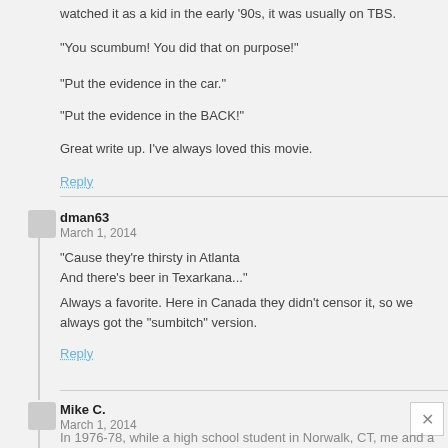watched it as a kid in the early '90s, it was usually on TBS.
"You scumbum! You did that on purpose!"
"Put the evidence in the car."
"Put the evidence in the BACK!"
Great write up. I've always loved this movie.
Reply
dman63
March 1, 2014
"Cause they're thirsty in Atlanta
And there's beer in Texarkana..."
Always a favorite. Here in Canada they didn't censor it, so we always got the "sumbitch" version.
Reply
Mike C.
March 1, 2014
In 1976-78, while a high school student in Norwalk, CT, me and a few buddies would routinely drive up to Vista, NY, which was just over the state line. The little packy there